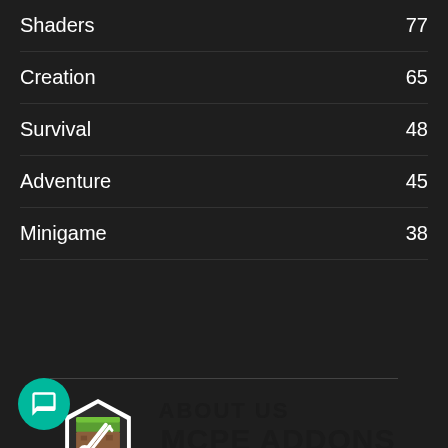Shaders  77
Creation  65
Survival  48
Adventure  45
Minigame  38
[Figure (logo): MCPE Addons logo: hexagon with Minecraft grass block and wrench/pencil icons, next to bold text MCPE ADDONS]
ABOUT US